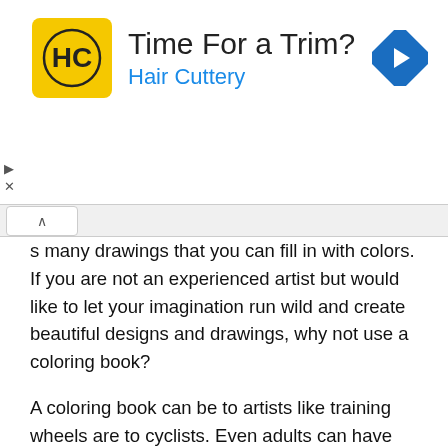[Figure (other): Advertisement banner for Hair Cuttery with logo, title 'Time For a Trim?', subtitle 'Hair Cuttery', and navigation icon]
many drawings that you can fill in with colors. If you are not an experienced artist but would like to let your imagination run wild and create beautiful designs and drawings, why not use a coloring book?
A coloring book can be to artists like training wheels are to cyclists. Even adults can have fun using this coloring book app, but many students and children will love it as well.
When using a coloring book, you dont have to concentrate as much. Many people find it more fun than creating a new drawing from scratch.
There are over 80 color palettes you can use, with eight